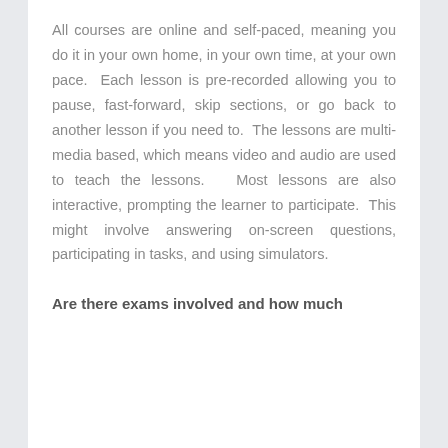All courses are online and self-paced, meaning you do it in your own home, in your own time, at your own pace. Each lesson is pre-recorded allowing you to pause, fast-forward, skip sections, or go back to another lesson if you need to. The lessons are multi-media based, which means video and audio are used to teach the lessons. Most lessons are also interactive, prompting the learner to participate. This might involve answering on-screen questions, participating in tasks, and using simulators.
Are there exams involved and how much